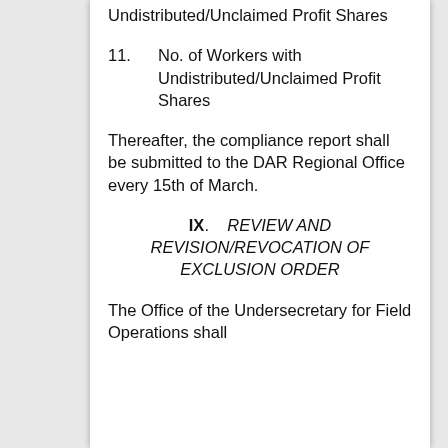Undistributed/Unclaimed Profit Shares
11.       No. of Workers with Undistributed/Unclaimed Profit  Shares
Thereafter, the compliance report shall be submitted to the DAR Regional Office every 15th of March.
IX.    REVIEW AND REVISION/REVOCATION OF EXCLUSION ORDER
The Office of the Undersecretary for Field Operations shall